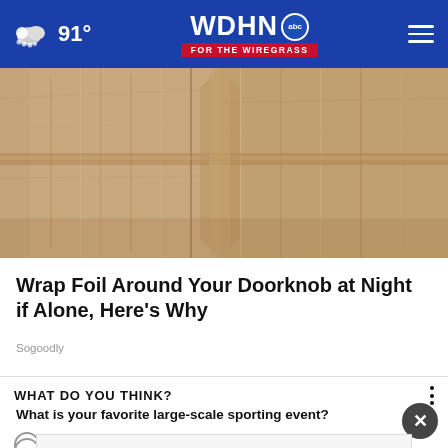WDHN ABC FOR THE WIREGRASS — 91°
[Figure (photo): Close-up photo of a wooden door with visible wood grain texture and door panels]
Wrap Foil Around Your Doorknob at Night if Alone, Here's Why
Sogoodly
WHAT DO YOU THINK?
What is your favorite large-scale sporting event?
Listen to the new podcast about adoption.
March Madness